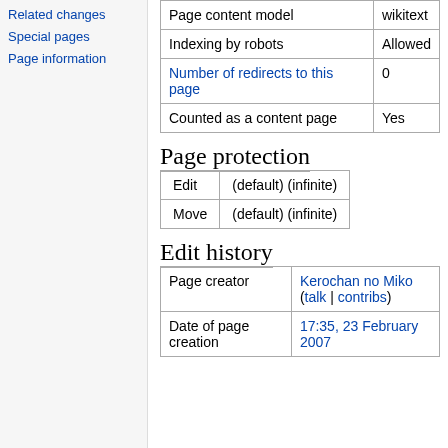Related changes
Special pages
Page information
| Property | Value |
| --- | --- |
| Page content model | wikitext |
| Indexing by robots | Allowed |
| Number of redirects to this page | 0 |
| Counted as a content page | Yes |
Page protection
| Action | Setting |
| --- | --- |
| Edit | (default) (infinite) |
| Move | (default) (infinite) |
Edit history
| Property | Value |
| --- | --- |
| Page creator | Kerochan no Miko (talk | contribs) |
| Date of page creation | 17:35, 23 February 2007 |